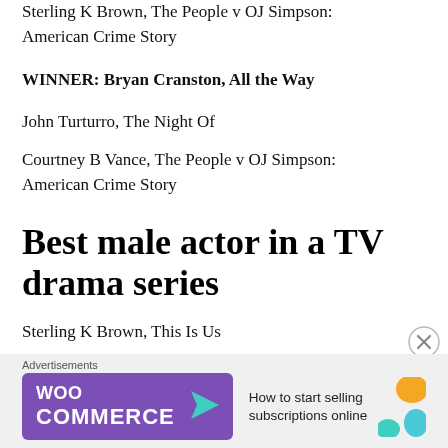Sterling K Brown, The People v OJ Simpson: American Crime Story
WINNER: Bryan Cranston, All the Way
John Turturro, The Night Of
Courtney B Vance, The People v OJ Simpson: American Crime Story
Best male actor in a TV drama series
Sterling K Brown, This Is Us
Peter Dinklage, Game of Thrones
WINNER: John Lithgow, The Crown
[Figure (infographic): WooCommerce advertisement banner: 'How to start selling subscriptions online']